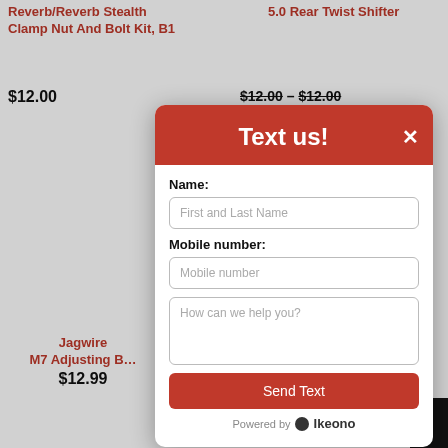Reverb/Reverb Stealth Clamp Nut And Bolt Kit, B1
5.0 Rear Twist Shifter
$12.00
$12.00 – $12.00
[Figure (screenshot): A 'Text us!' modal dialog overlay on a bike parts e-commerce page. The modal has a red header with 'Text us!' in white bold text and an X close button. Below are form fields: Name (placeholder: First and Last Name), Mobile number (placeholder: Mobile number), and a textarea (placeholder: How can we help you?). A red 'Send Text' button is at the bottom, followed by 'Powered by Ikeono' branding.]
Jagwire
M7 Adjusting B
$12.99